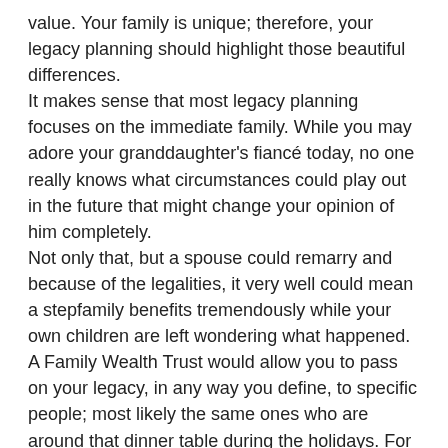value. Your family is unique; therefore, your legacy planning should highlight those beautiful differences. It makes sense that most legacy planning focuses on the immediate family. While you may adore your granddaughter's fiancé today, no one really knows what circumstances could play out in the future that might change your opinion of him completely. Not only that, but a spouse could remarry and because of the legalities, it very well could mean a stepfamily benefits tremendously while your own children are left wondering what happened. A Family Wealth Trust would allow you to pass on your legacy, in any way you define, to specific people; most likely the same ones who are around that dinner table during the holidays. For example, if your daughter marries, though it soon becomes clear the groom's motives are less than noble, the protections you put into place during legacy planning can help ensure an ex-spouse doesn't walk away with any portion of the inheritance.